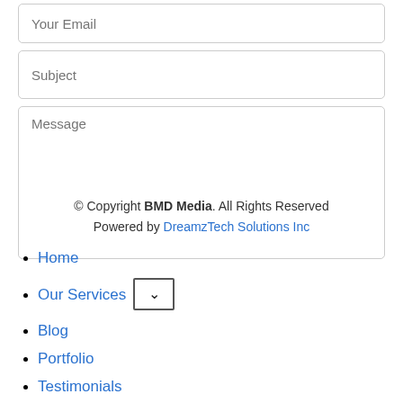[Figure (screenshot): Email input field with placeholder text 'Your Email']
[Figure (screenshot): Subject input field with placeholder text 'Subject']
[Figure (screenshot): Message textarea with placeholder text 'Message', containing copyright notice: '© Copyright BMD Media. All Rights Reserved Powered by DreamzTech Solutions Inc']
[Figure (screenshot): Send button]
Home
Our Services
Blog
Portfolio
Testimonials
Request Quote
[Figure (screenshot): More button with ellipsis icon]